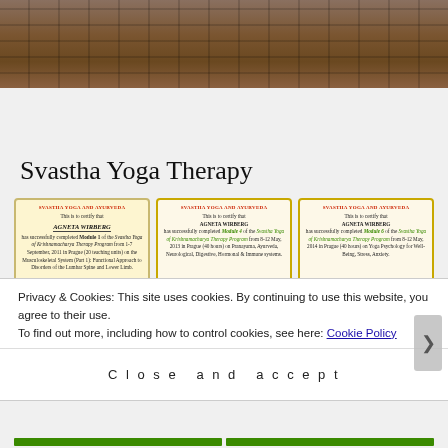[Figure (photo): Brick wall with decorative lattice pattern, photographed outdoors]
Svastha Yoga Therapy
[Figure (photo): Three yoga therapy certificates from Svastha Yoga and Ayurveda, issued to Agneta Wirberg for completing Modules 1, 4, and 6 of the Svastha Yoga of Krishnamacharya Therapy Program]
Privacy & Cookies: This site uses cookies. By continuing to use this website, you agree to their use.
To find out more, including how to control cookies, see here: Cookie Policy
Close and accept